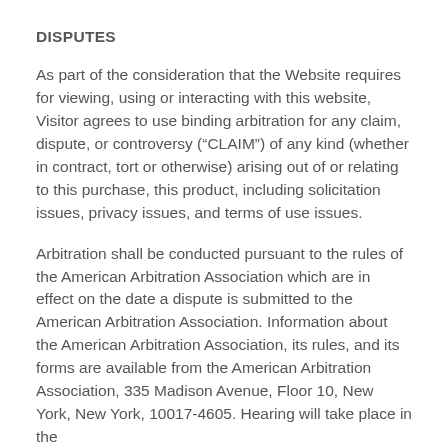DISPUTES
As part of the consideration that the Website requires for viewing, using or interacting with this website, Visitor agrees to use binding arbitration for any claim, dispute, or controversy (“CLAIM”) of any kind (whether in contract, tort or otherwise) arising out of or relating to this purchase, this product, including solicitation issues, privacy issues, and terms of use issues.
Arbitration shall be conducted pursuant to the rules of the American Arbitration Association which are in effect on the date a dispute is submitted to the American Arbitration Association. Information about the American Arbitration Association, its rules, and its forms are available from the American Arbitration Association, 335 Madison Avenue, Floor 10, New York, New York, 10017-4605. Hearing will take place in the city or county of the Seller.